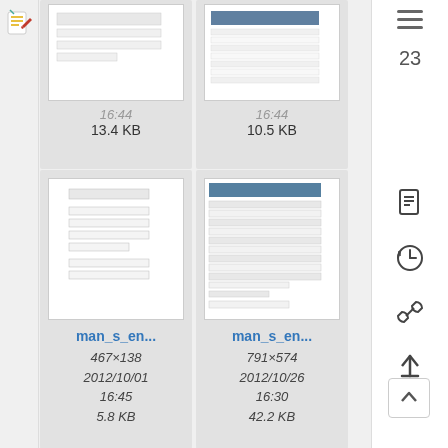[Figure (screenshot): File manager / media gallery UI screenshot showing document thumbnails in a grid layout with filenames, dimensions, dates and file sizes. Left sidebar has a logo icon. Right side has hamburger menu and navigation icons. Three rows of document thumbnail cards are visible.]
16:44
13.4 KB
16:44
10.5 KB
23
[Figure (screenshot): Document thumbnail showing a form with empty fields]
man_s_en...
467×138
2012/10/01
16:45
5.8 KB
[Figure (screenshot): Document thumbnail showing a table/spreadsheet with a blue header]
man_s_en...
791×574
2012/10/26
16:30
42.2 KB
[Figure (screenshot): Bottom row left document thumbnail showing a spreadsheet/table]
man_s_en...
[Figure (screenshot): Bottom row middle document thumbnail showing a document with red bullet points]
man_s_en...
[Figure (screenshot): Bottom row right document thumbnail showing a pie chart]